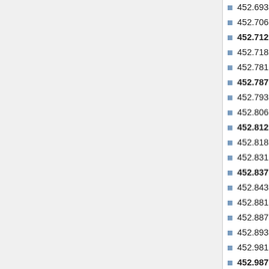452.69375 MHz
452.70625 MHz
452.7125 MHz
452.71875 MHz
452.78125 MHz
452.7875 MHz
452.79375 MHz
452.80625 MHz
452.8125 MHz
452.81875 MHz
452.83125 MHz
452.8375 MHz
452.84375 MHz
452.88125 MHz
452.8875 MHz
452.89375 MHz
452.98125 MHz
452.9875 MHz
452.99375 MHz
456.18125 MHz
456.1875 MHz
456.19375 MHz